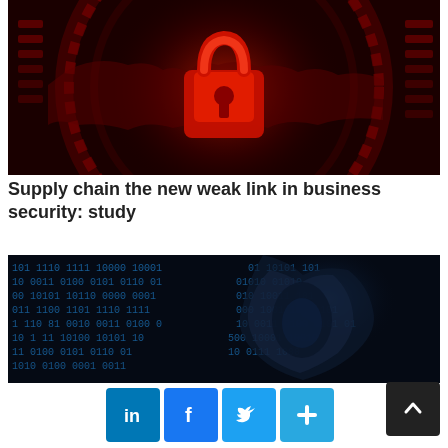[Figure (photo): Dark red cybersecurity image with a glowing padlock icon overlaid on a world map with circular digital elements]
Supply chain the new weak link in business security: study
[Figure (photo): Dark image of a hooded hacker figure surrounded by binary code digits on a dark background]
[Figure (infographic): Social sharing bar with LinkedIn, Facebook, Twitter, and a plus (more) button, plus a scroll-to-top arrow button]